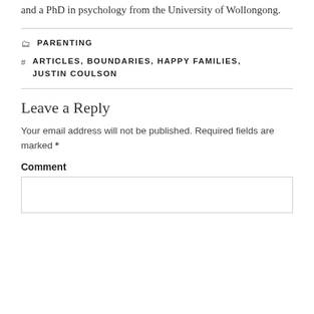and a PhD in psychology from the University of Wollongong.
CATEGORIES: PARENTING
TAGS: ARTICLES, BOUNDARIES, HAPPY FAMILIES, JUSTIN COULSON
Leave a Reply
Your email address will not be published. Required fields are marked *
Comment